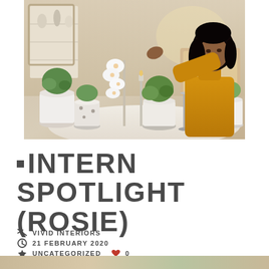[Figure (photo): Woman with long dark hair wearing a mustard yellow turtleneck sweater, arranging white orchids and potted plants including succulents on a white oval table inside an interior design store. Shelves with home decor items visible in background.]
• INTERN SPOTLIGHT (ROSIE)
VIVID INTERIORS
21 FEBRUARY 2020
UNCATEGORIZED  ♥  0